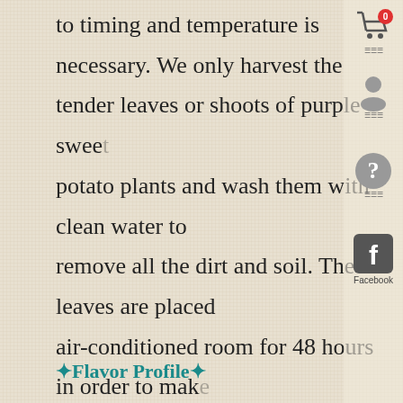to timing and temperature is necessary. We only harvest the tender leaves or shoots of purple sweet potato plants and wash them with clean water to remove all the dirt and soil. The leaves are placed air-conditioned room for 48 hours in order to make water in the leaves slowly disappear while keeping them fresh. The leaves ferment along with the oxidation process and then it will release the speci flavor and taste of sweet potato leaf tea. We had to roast the sweet potato leaf tea several times just to stop oxidation and reduce the vegetal flavor of sweet potato leaves, making this tea even more time-consuming than other tea production.
✦Flavor Profile✦